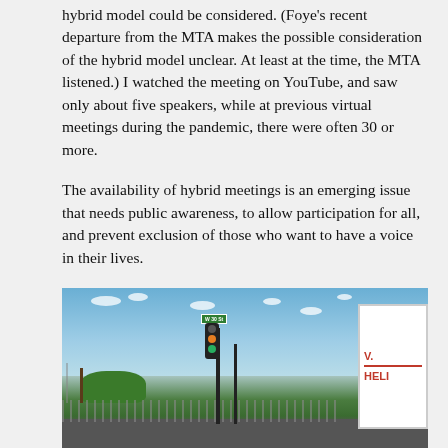hybrid model could be considered. (Foye's recent departure from the MTA makes the possible consideration of the hybrid model unclear. At least at the time, the MTA listened.) I watched the meeting on YouTube, and saw only about five speakers, while at previous virtual meetings during the pandemic, there were often 30 or more.
The availability of hybrid meetings is an emerging issue that needs public awareness, to allow participation for all, and prevent exclusion of those who want to have a voice in their lives.
Miriam Fisher, Chelsea resident
[Figure (photo): Street-level photo showing a traffic light at an intersection with a W 30 St street sign, blue sky with clouds, trees on the left, a chain-link fence, and a partial sign on the right reading 'V.' and 'HELI']